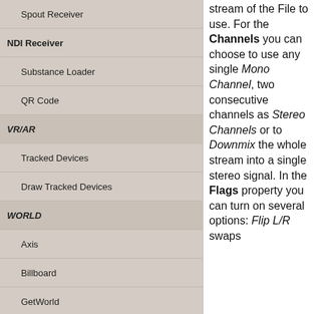Spout Receiver
NDI Receiver
Substance Loader
QR Code
VR/AR
Tracked Devices
Draw Tracked Devices
WORLD
Axis
Billboard
GetWorld
SetWorld
Arrange
Ticker
Layout
Group
World Z Sort
stream of the File to use. For the Channels you can choose to use any single Mono Channel, two consecutive channels as Stereo Channels or to Downmix the whole stream into a single stereo signal. In the Flags property you can turn on several options: Flip L/R swaps